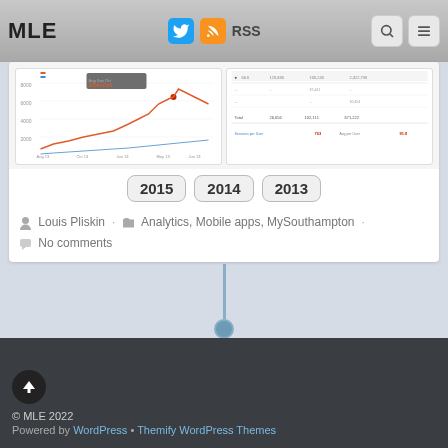MLE  RSS
[Figure (screenshot): Screenshot of analytics line chart showing data over time with orange/red line]
[Figure (screenshot): Screenshot of analytics table showing data for 2015, 2014, 2013]
Louis Pliskin · Analytics, Mobile apps, MySouthampton · No comments
© MLE 2022
Powered by WordPress • Themify WordPress Themes